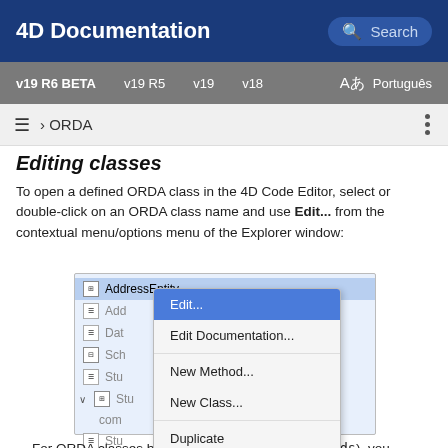4D Documentation
v19 R6 BETA  v19 R5  v19  v18  Português
≡ › ORDA
Editing classes
To open a defined ORDA class in the 4D Code Editor, select or double-click on an ORDA class name and use Edit... from the contextual menu/options menu of the Explorer window:
[Figure (screenshot): Screenshot showing a file list with AddressEntity selected (highlighted in blue), and a right-click context menu containing: Edit..., Edit Documentation..., New Method..., New Class..., Duplicate, Move to Trash]
For ORDA classes based upon the local datastore (ds), you